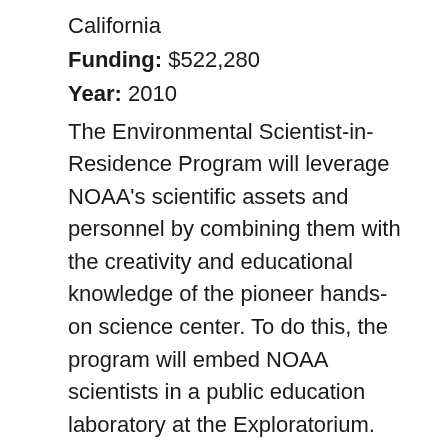California
Funding: $522,280
Year: 2010
The Environmental Scientist-in-Residence Program will leverage NOAA's scientific assets and personnel by combining them with the creativity and educational knowledge of the pioneer hands-on science center. To do this, the program will embed NOAA scientists in a public education laboratory at the Exploratorium. Working closely with youth Explainers, exhibit developers, and Web and interactive media producers at the Exploratorium